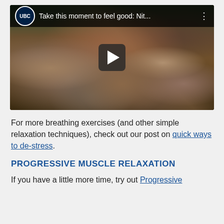[Figure (screenshot): YouTube-style video thumbnail showing a rocky stream with water flowing over stones, with a dark top bar showing the UBC logo and the title 'Take this moment to feel good: Nit...' with a menu icon. A play button is centered over the image.]
For more breathing exercises (and other simple relaxation techniques), check out our post on quick ways to de-stress.
PROGRESSIVE MUSCLE RELAXATION
If you have a little more time, try out Progressive